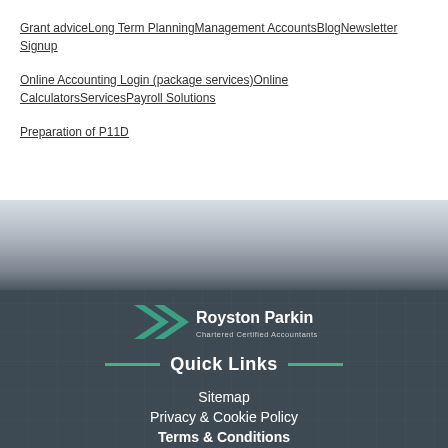Grant advice Long Term Planning Management Accounts Blog Newsletter Signup
Online Accounting Login (package services) Online Calculators Services Payroll Solutions
Preparation of P11D
[Figure (logo): Royston Parkin Chartered Certified Accountants logo with teal arrow motif]
Quick Links
Sitemap
Privacy & Cookie Policy
Terms & Conditions